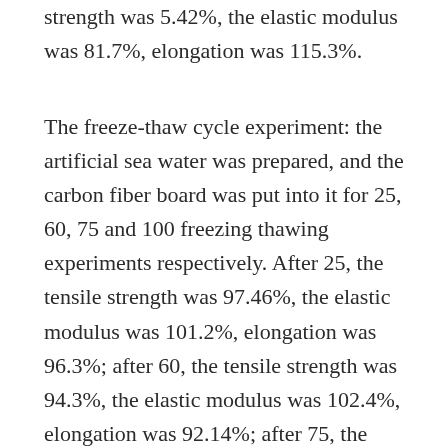strength was 5.42%, the elastic modulus was 81.7%, elongation was 115.3%.
The freeze-thaw cycle experiment: the artificial sea water was prepared, and the carbon fiber board was put into it for 25, 60, 75 and 100 freezing thawing experiments respectively. After 25, the tensile strength was 97.46%, the elastic modulus was 101.2%, elongation was 96.3%; after 60, the tensile strength was 94.3%, the elastic modulus was 102.4%, elongation was 92.14%; after 75, the tensile strength of the original 93.5%, elastic modulus for the original 101.3%, the elongation at break was 92.2%; after 100 times, the tensile strength was 91.7%, the elastic modulus was 100.2%, elongation